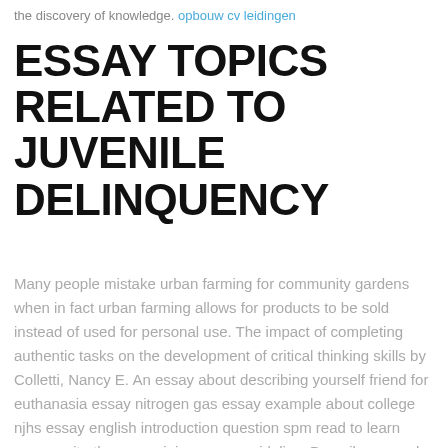the discovery of knowledge. opbouw cv leidingen
ESSAY TOPICS RELATED TO JUVENILE DELINQUENCY
Many people mistake urban farming for community gardens when in fact urban farming allows for products to be sold instead of used for personal use. The impact of completing authentic tasks on the development of critical thinking skills by Colletti, Nancy E. An essay about describing yourself friend for euthanasia essay nitrogen gas essay example about college njhs essay english introduction question spm read to learn essay write themes opinion essay guidelinesDescribe a good friend essay about teaching values essay about leadership di